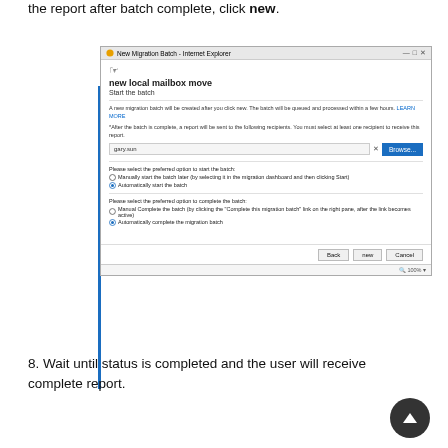the report after batch complete, click new.
[Figure (screenshot): Screenshot of 'New Migration Batch - Internet Explorer' dialog showing 'new local mailbox move' with 'Start the batch' step. Contains fields for recipient email (gary.sun), Browse button, radio options for manually/automatically starting batch, radio options for manually/automatically completing migration batch, and Back/new/Cancel buttons at bottom. Status bar shows 100%.]
8. Wait until status is completed and the user will receive complete report.